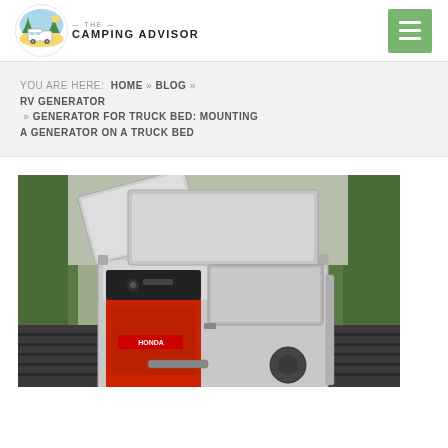[Figure (logo): The Camping Advisor logo with circular emblem showing RV/camper and trees, with hamburger menu button in green on the right]
YOU ARE HERE: HOME » BLOG » RV GENERATOR » GENERATOR FOR TRUCK BED: MOUNTING A GENERATOR ON A TRUCK BED
[Figure (photo): Photograph of a Honda generator mounted in a diamond-plate aluminum toolbox/enclosure in a truck bed, with the lid open, surrounded by trees in the background]